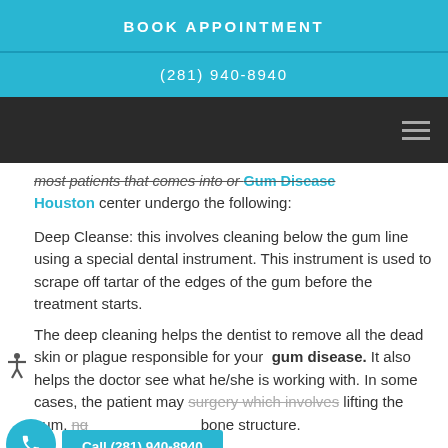BOOK APPOINTMENT
(281) 940-8940
most patients that comes into our Gum Disease Houston center undergo the following:
Deep Cleanse: this involves cleaning below the gum line using a special dental instrument. This instrument is used to scrape off tartar of the edges of the gum before the treatment starts.
The deep cleaning helps the dentist to remove all the dead skin or plague responsible for your gum disease. It also helps the doctor see what he/she is working with. In some cases, the patient may need surgery which involves lifting the gum, exposing the bone structure.
Although gum disease has no cure, there are
Call (281) 940-8940